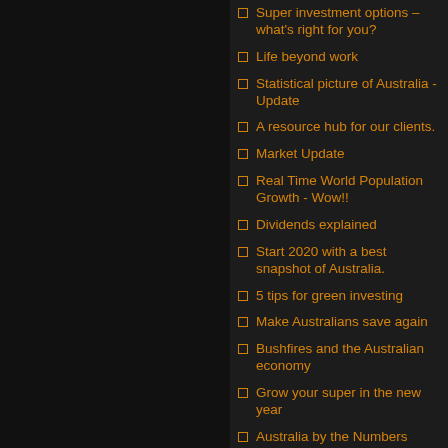Super investment options – what's right for you?
Life beyond work
Statistical picture of Australia - Update
A resource hub for our clients.
Market Update
Real Time World Population Growth - Wow!!
Dividends explained
Start 2020 with a best snapshot of Australia.
5 tips for green investing
Make Australians save again
Bushfires and the Australian economy
Grow your super in the new year
Australia by the Numbers